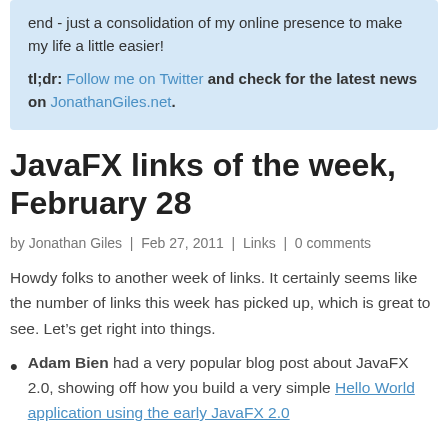end - just a consolidation of my online presence to make my life a little easier!
tl;dr: Follow me on Twitter and check for the latest news on JonathanGiles.net.
JavaFX links of the week, February 28
by Jonathan Giles | Feb 27, 2011 | Links | 0 comments
Howdy folks to another week of links. It certainly seems like the number of links this week has picked up, which is great to see. Let’s get right into things.
Adam Bien had a very popular blog post about JavaFX 2.0, showing off how you build a very simple Hello World application using the early JavaFX 2.0